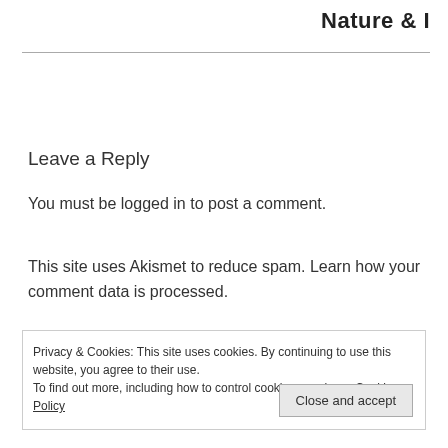Nature & I
Leave a Reply
You must be logged in to post a comment.
This site uses Akismet to reduce spam. Learn how your comment data is processed.
Privacy & Cookies: This site uses cookies. By continuing to use this website, you agree to their use.
To find out more, including how to control cookies, see here: Cookie Policy
Close and accept